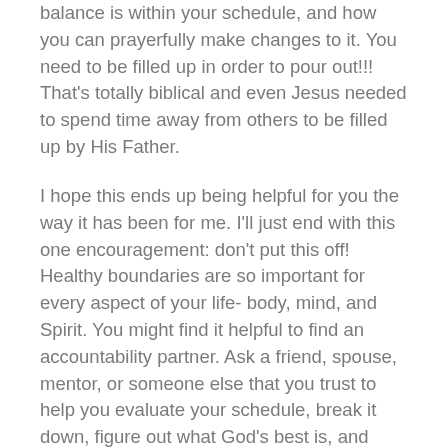balance is within your schedule, and how you can prayerfully make changes to it. You need to be filled up in order to pour out!!! That's totally biblical and even Jesus needed to spend time away from others to be filled up by His Father.
I hope this ends up being helpful for you the way it has been for me. I'll just end with this one encouragement: don't put this off! Healthy boundaries are so important for every aspect of your life- body, mind, and Spirit. You might find it helpful to find an accountability partner. Ask a friend, spouse, mentor, or someone else that you trust to help you evaluate your schedule, break it down, figure out what God's best is, and become more balanced in pouring out and being filled up. Get them to pray for you, send some